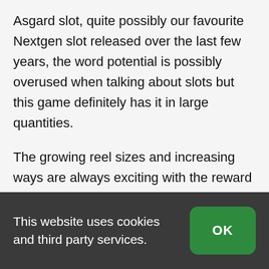Asgard slot, quite possibly our favourite Nextgen slot released over the last few years, the word potential is possibly overused when talking about slots but this game definitely has it in large quantities.
The growing reel sizes and increasing ways are always exciting with the reward of extra spins when they reach the maximum size, coupled with multipliers up to 10x that can literally transform wins into huge wins, and
This website uses cookies and third party services.